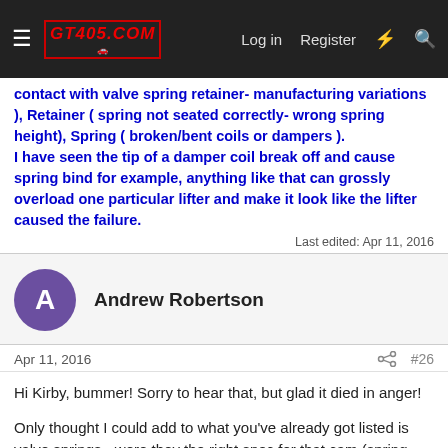GT405.COM forum navigation bar with Log in, Register links
contact with valve spring retainer- manufacturing variations ), Retainer ( spring not seated correctly- wrong spring height), Spring ( broken/bent coils or dampers ). I have seen the tip of a damper coil break off and cause spring bind for example, anything like that can grossly overload one particular lifter and make it look like the lifter caused the failure.
Last edited: Apr 11, 2016
Andrew Robertson
Apr 11, 2016
#26
Hi Kirby, bummer! Sorry to hear that, but glad it died in anger!
Only thought I could add to what you've already got listed is valve springs - were they the right spec for that cam (spring rate, coil bind height etc), and/or did you miss a shift and buzz it to